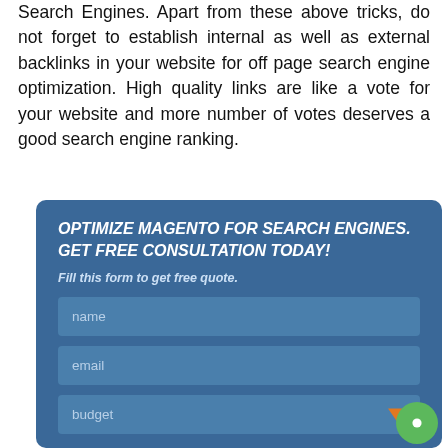Search Engines. Apart from these above tricks, do not forget to establish internal as well as external backlinks in your website for off page search engine optimization. High quality links are like a vote for your website and more number of votes deserves a good search engine ranking.
OPTIMIZE MAGENTO FOR SEARCH ENGINES. GET FREE CONSULTATION TODAY!
Fill this form to get free quote.